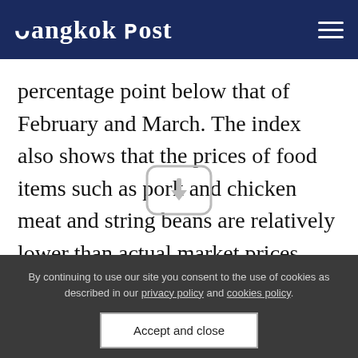Bangkok Post
percentage point below that of February and March. The index also shows that the prices of food items such as pork and chicken meat and string beans are relatively lower than actual market prices.
[Figure (other): Small rounded rectangle icon/button at bottom of article area]
By continuing to use our site you consent to the use of cookies as described in our privacy policy and cookies policy.
Accept and close